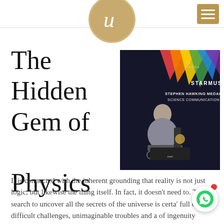U (logo) — navigation header with hamburger menu
The Hidden Gem of Physics Theories
[Figure (photo): Stephen Hawking seated in his wheelchair at a STARMUS event, with OMEGA branding and 'Stephen Hawking Medal for Science Communication' text visible on a dark background with colorful light beams]
It is connected with the inherent grounding that reality is not just logic, but likewise the thing itself. In fact, it doesn't need to. The search to uncover all the secrets of the universe is certa' full of difficult challenges, unimaginable troubles and a of ingenuity required to overcome them.